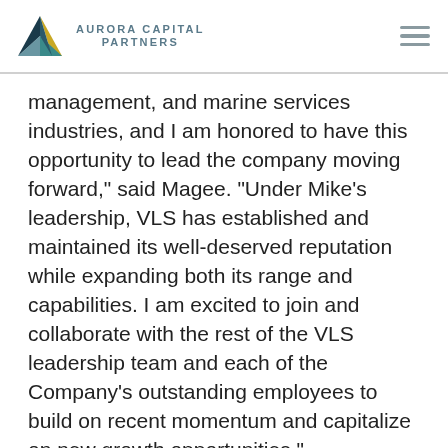AURORA CAPITAL PARTNERS
management, and marine services industries, and I am honored to have this opportunity to lead the company moving forward," said Magee.  "Under Mike's leadership, VLS has established and maintained its well-deserved reputation while expanding both its range and capabilities.  I am excited to join and collaborate with the rest of the VLS leadership team and each of the Company's outstanding employees to build on recent momentum and capitalize on new growth opportunities."